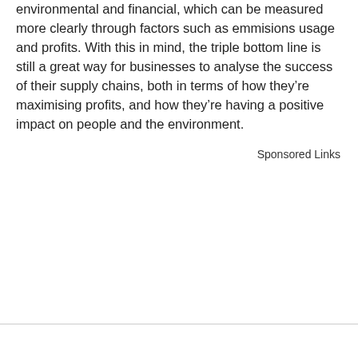environmental and financial, which can be measured more clearly through factors such as emmisions usage and profits. With this in mind, the triple bottom line is still a great way for businesses to analyse the success of their supply chains, both in terms of how they're maximising profits, and how they're having a positive impact on people and the environment.
Sponsored Links